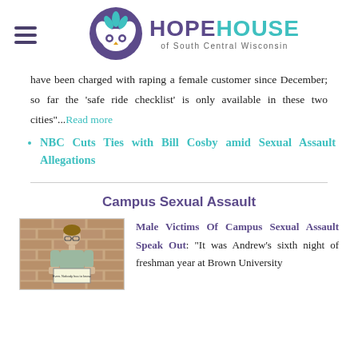HOPEHOUSE of South Central Wisconsin
have been charged with raping a female customer since December; so far the 'safe ride checklist' is only available in these two cities"...Read more
NBC Cuts Ties with Bill Cosby amid Sexual Assault Allegations
Campus Sexual Assault
[Figure (photo): Young male student holding a sign with text, standing against a brick wall]
Male Victims Of Campus Sexual Assault Speak Out: "It was Andrew's sixth night of freshman year at Brown University